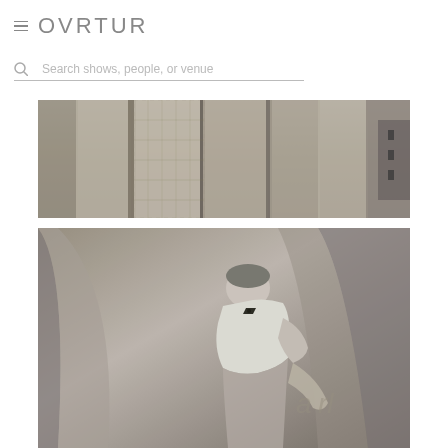OVRTUR
Search shows, people, or venue
[Figure (photo): Black and white photo of hanging garments/costumes on a rack, showing fabric draping]
[Figure (photo): Black and white photo of a person bending over, wearing a white top, with decorative backdrop behind]